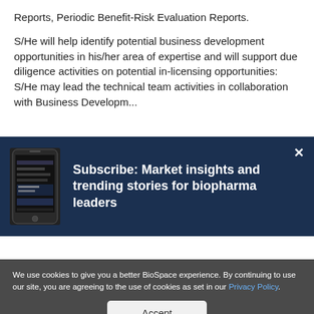Reports, Periodic Benefit-Risk Evaluation Reports.
S/He will help identify potential business development opportunities in his/her area of expertise and will support due diligence activities on potential in-licensing opportunities: S/He may lead the technical team activities in collaboration with Business Development.
[Figure (screenshot): Subscribe modal with dark navy background showing a phone image and text: Subscribe: Market insights and trending stories for biopharma leaders, with a close (×) button]
We use cookies to give you a better BioSpace experience. By continuing to use our site, you are agreeing to the use of cookies as set in our Privacy Policy.
Accept